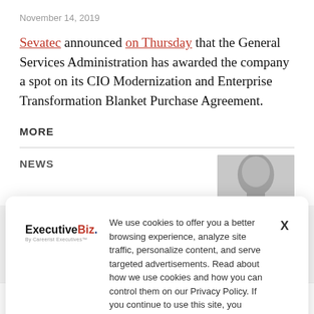November 14, 2019
Sevatec announced on Thursday that the General Services Administration has awarded the company a spot on its CIO Modernization and Enterprise Transformation Blanket Purchase Agreement.
MORE
NEWS
[Figure (photo): Black and white headshot photo of a person]
We use cookies to offer you a better browsing experience, analyze site traffic, personalize content, and serve targeted advertisements. Read about how we use cookies and how you can control them on our Privacy Policy. If you continue to use this site, you consent to our use of cookies.
the applied technology division at